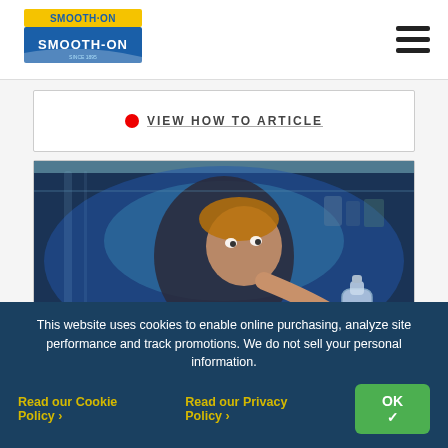Smooth-On logo and navigation menu
[Figure (screenshot): Partial view of a video card with red play dot and partially visible 'View How To Article' link text]
[Figure (photo): A person looking through a freezer glass door, holding a bottle, blue-tinted freezer interior lighting]
How To Create a Breakaway Glass Freezer Door for a
Filming the horror flick Laid To Rest on the grounds of a
This website uses cookies to enable online purchasing, analyze site performance and track promotions. We do not sell your personal information.
Read our Cookie Policy ›   Read our Privacy Policy ›   OK ✓